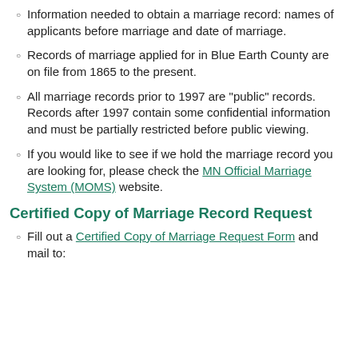Information needed to obtain a marriage record: names of applicants before marriage and date of marriage.
Records of marriage applied for in Blue Earth County are on file from 1865 to the present.
All marriage records prior to 1997 are "public" records. Records after 1997 contain some confidential information and must be partially restricted before public viewing.
If you would like to see if we hold the marriage record you are looking for, please check the MN Official Marriage System (MOMS) website.
Certified Copy of Marriage Record Request
Fill out a Certified Copy of Marriage Request Form and mail to: